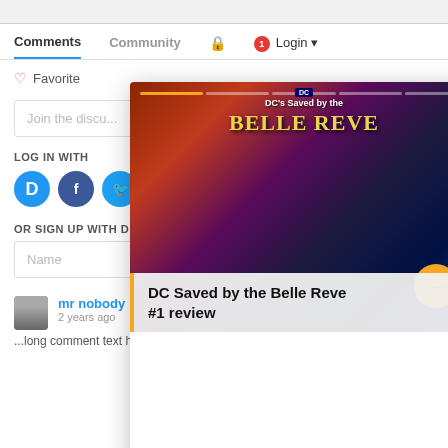Comments	Community	🔒	1	Login
♡ Favorite
Join the discu...
LOG IN WITH
OR SIGN UP WITH DI...
Name
mr nobody
2 years ago
[Figure (screenshot): A modal popup showing a DC comic book cover for 'DC Saved by the Belle Reve #1' with a progress bar, close button (X), a right-arrow button in yellow, and a caption box reading 'DC Saved by the Belle Reve #1 review']